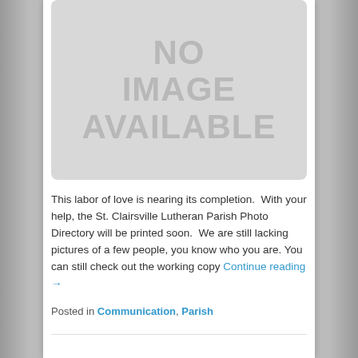[Figure (other): No image available placeholder — light gray rounded rectangle with 'NO IMAGE AVAILABLE' text in large bold gray letters]
This labor of love is nearing its completion.  With your help, the St. Clairsville Lutheran Parish Photo Directory will be printed soon.  We are still lacking pictures of a few people, you know who you are. You can still check out the working copy Continue reading →
Posted in Communication, Parish